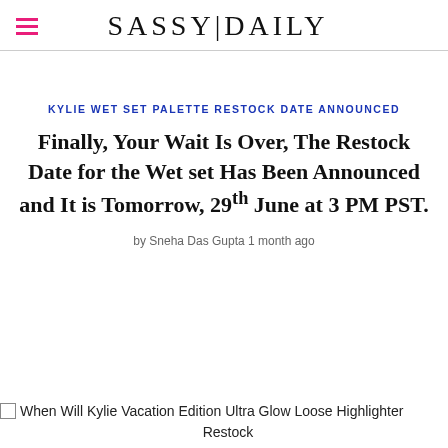SASSY|DAILY
KYLIE WET SET PALETTE RESTOCK DATE ANNOUNCED
Finally, Your Wait Is Over, The Restock Date for the Wet set Has Been Announced and It is Tomorrow, 29th June at 3 PM PST.
by Sneha Das Gupta 1 month ago
[Figure (photo): Broken image placeholder with alt text: When Will Kylie Vacation Edition Ultra Glow Loose Highlighter Restock]